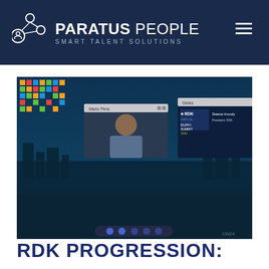[Figure (logo): Paratus People logo with icon showing connected people nodes, subtitle 'SMART TALENT SOLUTIONS', on dark navy background header]
[Figure (screenshot): Screenshot of virtual RDK Euro Summit 2020 event interface showing a video call with participant video windows, a presentation slide with 'RDK EURO SUMMIT 2020 VIRTUAL - Steeve Inoudy, President, RDK', and a speaker info card, all overlaid on a teal-tinted aerial view of Amsterdam canal]
RDK PROGRESSION: